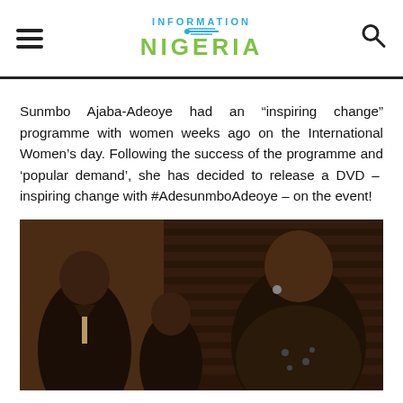Information Nigeria
Sunmbo Ajaba-Adeoye had an “inspiring change” programme with women weeks ago on the International Women’s day. Following the success of the programme and ‘popular demand’, she has decided to release a DVD –  inspiring change with #AdesunmboAdeoye – on the event!
[Figure (photo): A photo of people at an event, with a man in a suit on the left and a woman smiling on the right, against a dark wooden blind background.]